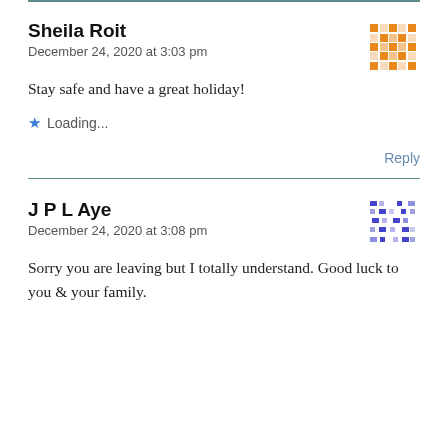Sheila Roit
December 24, 2020 at 3:03 pm
Stay safe and have a great holiday!
Loading...
Reply
J P L Aye
December 24, 2020 at 3:08 pm
Sorry you are leaving but I totally understand. Good luck to you & your family.